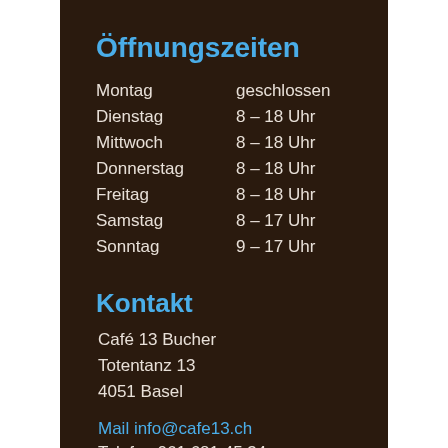Öffnungszeiten
| Montag | geschlossen |
| Dienstag | 8 – 18 Uhr |
| Mittwoch | 8 – 18 Uhr |
| Donnerstag | 8 – 18 Uhr |
| Freitag | 8 – 18 Uhr |
| Samstag | 8 – 17 Uhr |
| Sonntag | 9 – 17 Uhr |
Kontakt
Café 13 Bucher
Totentanz 13
4051 Basel
Mail info@cafe13.ch
Telefon 061 681 45 34
[Figure (logo): Social media icons: Instagram (pink/magenta), Facebook (blue), TripAdvisor (grey circle)]